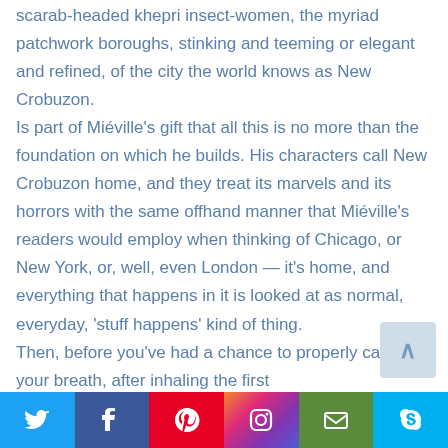scarab-headed khepri insect-women, the myriad patchwork boroughs, stinking and teeming or elegant and refined, of the city the world knows as New Crobuzon. Is part of Miéville's gift that all this is no more than the foundation on which he builds. His characters call New Crobuzon home, and they treat its marvels and its horrors with the same offhand manner that Miéville's readers would employ when thinking of Chicago, or New York, or, well, even London — it's home, and everything that happens in it is looked at as normal, everyday, 'stuff happens' kind of thing. Then, before you've had a chance to properly catch your breath, after inhaling the first